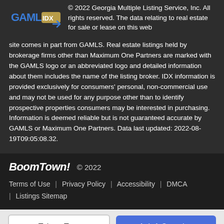[Figure (logo): GAMLS IDX logo — blue and gold text with arrow graphic]
© 2022 Georgia Multiple Listing Service, Inc. All rights reserved. The data relating to real estate for sale or lease on this web site comes in part from GAMLS. Real estate listings held by brokerage firms other than Maximum One Partners are marked with the GAMLS logo or an abbreviated logo and detailed information about them includes the name of the listing broker. IDX information is provided exclusively for consumers' personal, non-commercial use and may not be used for any purpose other than to identify prospective properties consumers may be interested in purchasing. Information is deemed reliable but is not guaranteed accurate by GAMLS or Maximum One Partners. Data last updated: 2022-08-19T09:05:08.32.
BoomTown! © 2022
Terms of Use | Privacy Policy | Accessibility | DMCA | Listings Sitemap
Take a Tour
Ask A Question